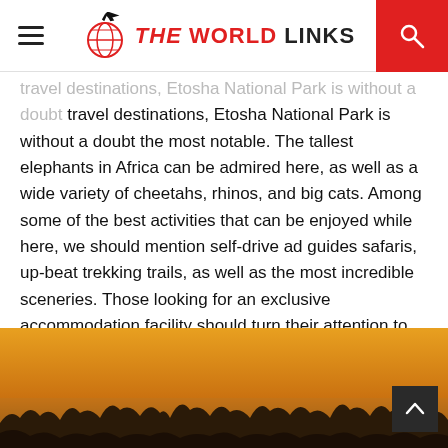THE WORLD LINKS
travel destinations, Etosha National Park is without a doubt the most notable. The tallest elephants in Africa can be admired here, as well as a wide variety of cheetahs, rhinos, and big cats. Among some of the best activities that can be enjoyed while here, we should mention self-drive ad guides safaris, up-beat trekking trails, as well as the most incredible sceneries. Those looking for an exclusive accommodation facility should turn their attention to the Onguma Treetop Camp, a place that is literally built among treetops. The panoramic view of the park is breathtaking from the top.
[Figure (photo): Sunset savanna landscape with silhouetted treeline, warm orange and golden sky tones]